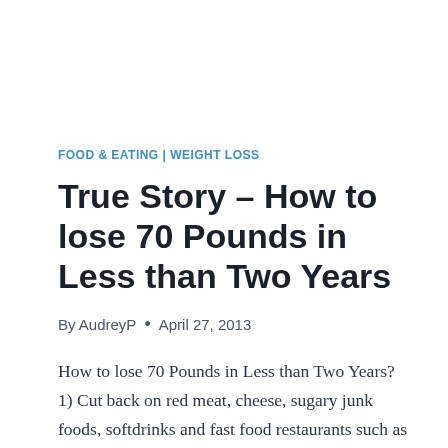FOOD & EATING | WEIGHT LOSS
True Story – How to lose 70 Pounds in Less than Two Years
By AudreyP • April 27, 2013
How to lose 70 Pounds in Less than Two Years? 1) Cut back on red meat, cheese, sugary junk foods, softdrinks and fast food restaurants such as McDonalds. 2) Eat lots of fruits, vegetables and coarse grains, particularly recipes on this website. 3)